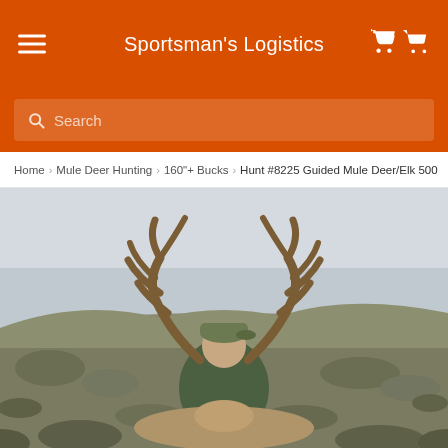Sportsman's Logistics
Search
Home › Mule Deer Hunting › 160"+ Bucks › Hunt #8225 Guided Mule Deer/Elk 500
[Figure (photo): A hunter posing behind a large mule deer buck with impressive antlers, outdoors in a sagebrush landscape]